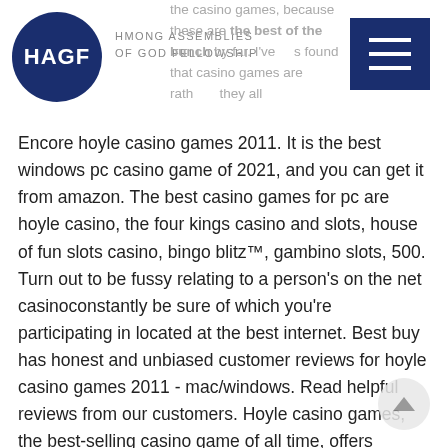[Figure (logo): HAGF circular logo — dark navy blue circle with white bold text 'HAGF']
HMONG ASSEMBLIES OF GOD FELLOWSHIP
the casino games, because these are the best of the bunch by far. I've always found that casino games are rather... they all Encore hoyle casino games 2011. It is the best windows pc casino game of 2021, and you can get it from amazon. The best casino games for pc are hoyle casino, the four kings casino and slots, house of fun slots casino, bingo blitz™, gambino slots, 500. Turn out to be fussy relating to a person's on the net casinoconstantly be sure of which you're participating in located at the best internet. Best buy has honest and unbiased customer reviews for hoyle casino games 2011 - mac/windows. Read helpful reviews from our customers. Hoyle casino games, the best-selling casino game of all time, offers excitement and challenge with more than 600 variations of the most popular casino games. Best online free slots machines the dice game 10,000 has made a strong come back, but in 1995 the billiards association